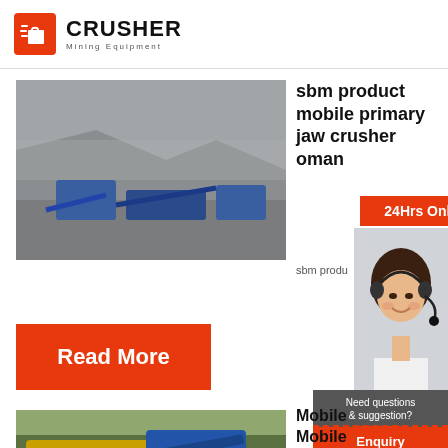[Figure (logo): Crusher Mining Equipment logo with red shopping bag icon and bold CRUSHER text, subtitle 'Mining Equipment']
[Figure (photo): Aerial view of a mobile jaw crusher plant operating in a quarry/open pit mine, with blue machinery and grey rock]
sbm product mobile primary jaw crusher oman
[Figure (photo): 24Hrs Online badge in red, customer support woman with headset photo, Need questions & suggestion box with Chat Now button]
sbm produ
Read More
[Figure (photo): Yellow and blue mobile crusher plant parked outdoors with trees in background]
Mobile
Mobile
Plant-
Mining
Enquiry
limingjlmofen@sina.com